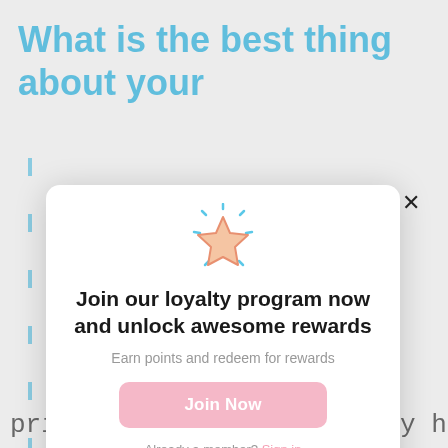What is the best thing about your
[Figure (screenshot): Loyalty program modal popup with a shining star icon, headline 'Join our loyalty program now and unlock awesome rewards', subtext 'Earn points and redeem for rewards', a pink 'Join Now' button, and 'Already a member? Sign in' text. An X close button appears in the top right corner of the modal.]
Join our loyalty program now and unlock awesome rewards
Earn points and redeem for rewards
Join Now
Already a member? Sign in
print and assemble them by hand so they